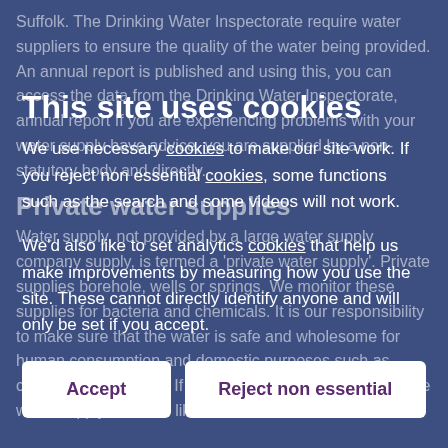Suffolk. The Drinking Water Inspectorate require water suppliers to ensure the quality of the water being provided. An annual report is published and using this, you can access the data from the Drinking Water Inspectorate, annual report If you are experiencing problems with your water supply have advice, you are supplied by a non-statutory body and directly.
Private water supplies
Water supply, not provided by a large water supply company supply, is termed a 'private water supply'. Private supplies borehole, wells or springs. We monitor these supplies for bacteria and chemicals. It is our responsibility to make sure that the water is safe and wholesome for human consumption and domestic purposes such as cooking and washing. If you are concerned about a private water supply or would like more advice then contact us.
This site uses cookies
We use necessary cookies to make our site work. If you reject non essential cookies, some functions such as the search and some videos will not work.
We'd also like to set analytics cookies that help us make improvements by measuring how you use the site. These cannot directly identify anyone and will only be set if you accept.